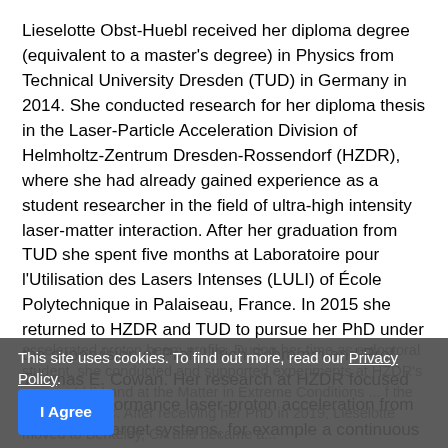Lieselotte Obst-Huebl received her diploma degree (equivalent to a master's degree) in Physics from Technical University Dresden (TUD) in Germany in 2014. She conducted research for her diploma thesis in the Laser-Particle Acceleration Division of Helmholtz-Zentrum Dresden-Rossendorf (HZDR), where she had already gained experience as a student researcher in the field of ultra-high intensity laser-matter interaction. After her graduation from TUD she spent five months at Laboratoire pour l'Utilisation des Lasers Intenses (LULI) of École Polytechnique in Palaiseau, France. In 2015 she returned to HZDR and TUD to pursue her PhD under the supervision of Prof. Ulrich Schramm and Prof. Thomas E. Cowan. Her research at HZDR focused on high-performance laser-proton acceleration from renewable target systems, for example a continuous cryogenic hydrogen jet, as well as the investigation of laser-induced spatial structures in the
accelerated proton beam profile. During her time as a doctoral student, she conducted and supported experiments at HZDR's ... er, at LULI and at the Matter in Extreme Conditions ... f the LCLS at SLAC. After receiving her PhD in 2019, Lieselotte moved to Berkeley, CA and became a...
This site uses cookies. To find out more, read our Privacy Policy.